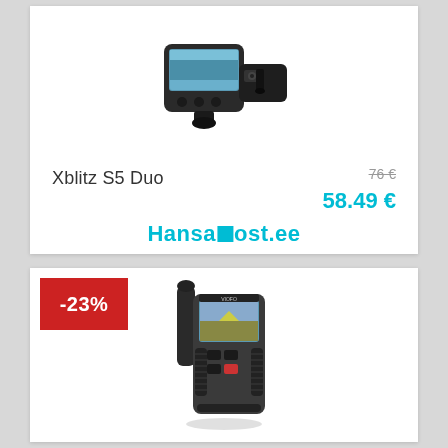[Figure (photo): Two Xblitz S5 Duo dashcam units shown together, front and rear cameras]
Xblitz S5 Duo
76 € (strikethrough old price)
58.49 €
Hansapost.ee
[Figure (photo): Single dashcam unit with screen showing road scene, -23% discount badge in red top-left corner]